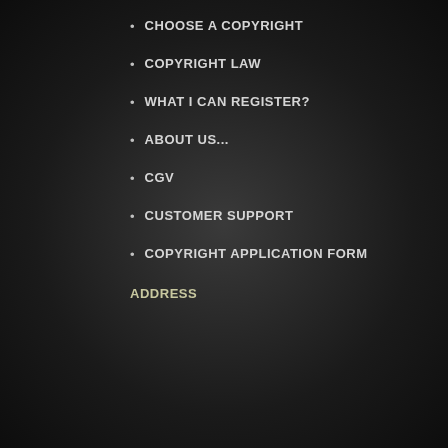CHOOSE A COPYRIGHT
COPYRIGHT LAW
WHAT I CAN REGISTER?
ABOUT US...
CGV
CUSTOMER SUPPORT
COPYRIGHT APPLICATION FORM
ADDRESS